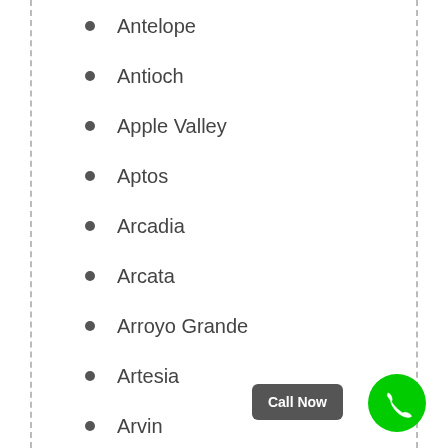Antelope
Antioch
Apple Valley
Aptos
Arcadia
Arcata
Arroyo Grande
Artesia
Arvin
Atascadero